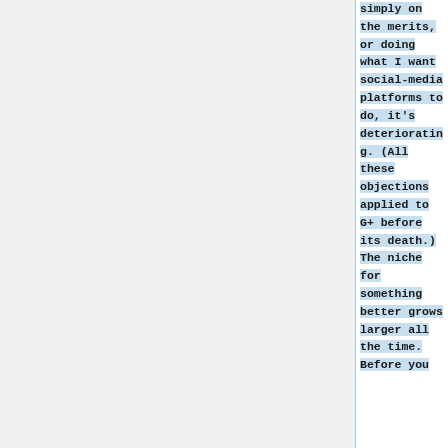simply on the merits, or doing what I want social-media platforms to do, it's deteriorating. (All these objections applied to G+ before its death.) The niche for something better grows larger all the time. Before you